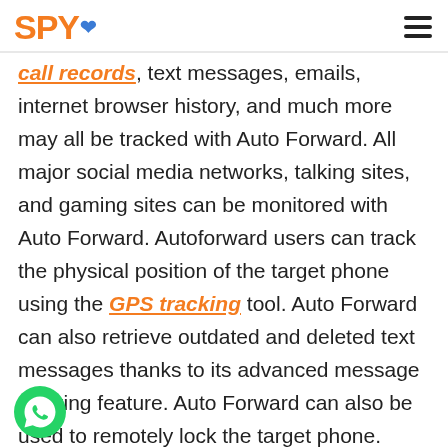SPY (logo with heart icon) | hamburger menu
call records, text messages, emails, internet browser history, and much more may all be tracked with Auto Forward. All major social media networks, talking sites, and gaming sites can be monitored with Auto Forward. Autoforward users can track the physical position of the target phone using the GPS tracking tool. Auto Forward can also retrieve outdated and deleted text messages thanks to its advanced message tracking feature. Auto Forward can also be used to remotely lock the target phone. Finally, the most significant advantage of employing Auto Forward is that it operates with minimal access to the device being monitored.
[Figure (logo): WhatsApp floating chat button (green circle with phone icon)]